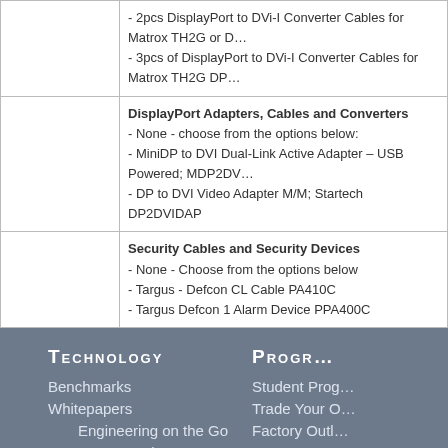|  | Options |
| --- | --- |
|  | - 2pcs DisplayPort to DVi-I Converter Cables for Matrox TH2G or D...
- 3pcs of DisplayPort to DVi-I Converter Cables for Matrox TH2G DP... |
|  | DisplayPort Adapters, Cables and Converters
- None - choose from the options below:
- MiniDP to DVI Dual-Link Active Adapter – USB Powered; MDP2DV...
- DP to DVI Video Adapter M/M; Startech DP2DVIDAP |
|  | Security Cables and Security Devices
- None - Choose from the options below
- Targus - Defcon CL Cable PA410C
- Targus Defcon 1 Alarm Device PPA400C |
Technology
Benchmarks
Whitepapers
Engineering on the Go
Server on the Go
Reviews & Awards
Compare Models
Innovations
VR Technology
Comparison Charts
Progr...
Student Prog...
Trade Your O...
Factory Outl...